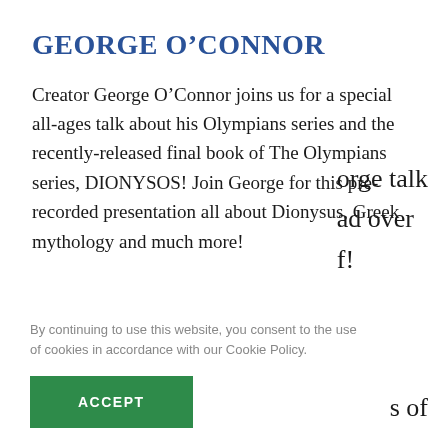GEORGE O'CONNOR
Creator George O’Connor joins us for a special all-ages talk about his Olympians series and the recently-released final book of The Olympians series, DIONYSOS! Join George for this pre-recorded presentation all about Dionysus, Greek mythology and much more!
By continuing to use this website, you consent to the use of cookies in accordance with our Cookie Policy.
ACCEPT